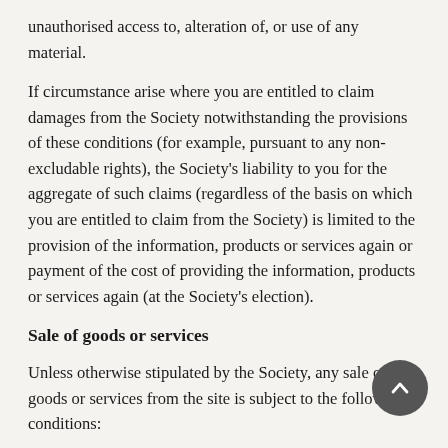unauthorised access to, alteration of, or use of any material.
If circumstance arise where you are entitled to claim damages from the Society notwithstanding the provisions of these conditions (for example, pursuant to any non-excludable rights), the Society's liability to you for the aggregate of such claims (regardless of the basis on which you are entitled to claim from the Society) is limited to the provision of the information, products or services again or payment of the cost of providing the information, products or services again (at the Society's election).
Sale of goods or services
Unless otherwise stipulated by the Society, any sale of goods or services from the site is subject to the following conditions:
Fulfillment - The Society will endeavor to provide excellent, accurate and fast fulfillment of any orders placed using the site.   However, the Society is not liable for delays caused by suppliers, postal and courier companies or any other circumstances.
Membership - Prospective members should make